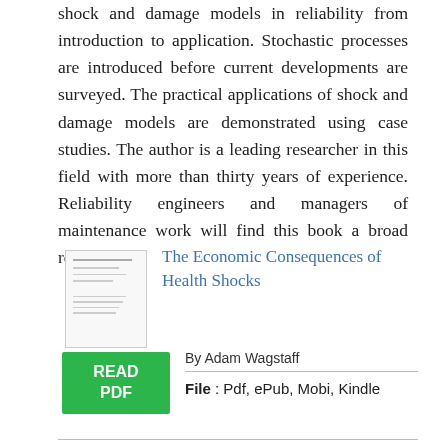shock and damage models in reliability from introduction to application. Stochastic processes are introduced before current developments are surveyed. The practical applications of shock and damage models are demonstrated using case studies. The author is a leading researcher in this field with more than thirty years of experience. Reliability engineers and managers of maintenance work will find this book a broad reference.
The Economic Consequences of Health Shocks
By Adam Wagstaff
File : Pdf, ePub, Mobi, Kindle
[Figure (illustration): Green READ PDF button and book thumbnail image]